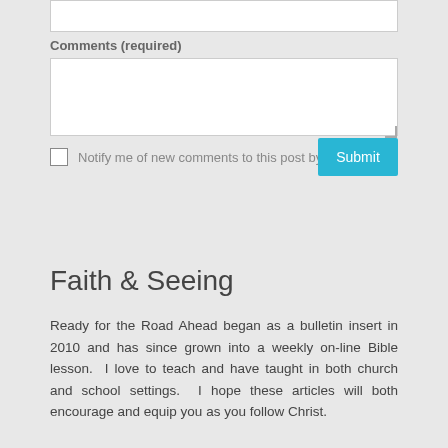Comments (required)
Notify me of new comments to this post by email
Submit
Faith & Seeing
Ready for the Road Ahead began as a bulletin insert in 2010 and has since grown into a weekly on-line Bible lesson.  I love to teach and have taught in both church and school settings.  I hope these articles will both encourage and equip you as you follow Christ.